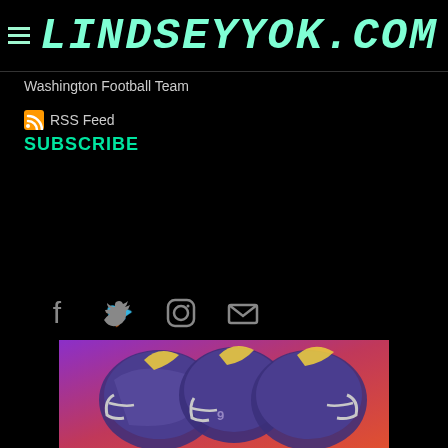≡ LINDSEYYOK.COM
Washington Football Team
RSS Feed
SUBSCRIBE
[Figure (other): Social media icons: Facebook, Twitter, Instagram, Email]
[Figure (photo): Football players in purple and gold Rams helmets against a purple/red gradient background]